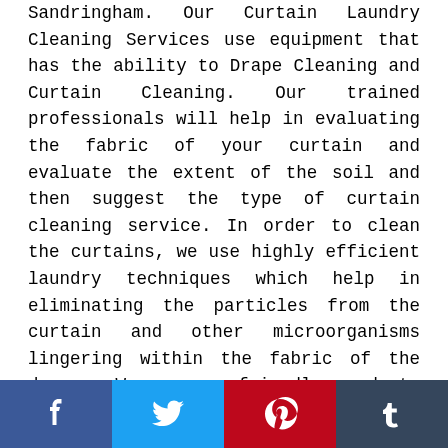Sandringham. Our Curtain Laundry Cleaning Services use equipment that has the ability to Drape Cleaning and Curtain Cleaning. Our trained professionals will help in evaluating the fabric of your curtain and evaluate the extent of the soil and then suggest the type of curtain cleaning service. In order to clean the curtains, we use highly efficient laundry techniques which help in eliminating the particles from the curtain and other microorganisms lingering within the fabric of the drapes. We use eco-friendly products for Curtain Laundry Cleaning. Our Drapes Cleaning services ensure that we use scientifically verified products so that it won't have a negative impact on the quality of the curtains. Our professional at Curtain Cleaning Sandringham
[Figure (infographic): Social media sharing bar with four buttons: Facebook (dark blue, f icon), Twitter (light blue, bird icon), Pinterest (red, P icon), Tumblr (dark slate, t icon)]